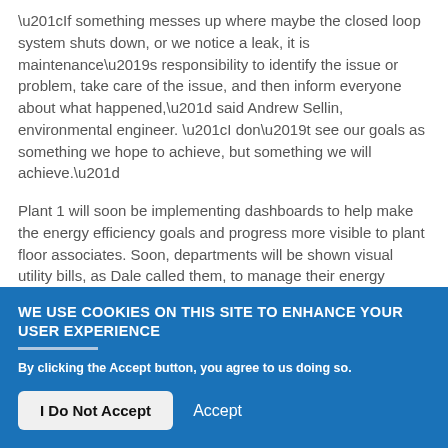“If something messes up where maybe the closed loop system shuts down, or we notice a leak, it is maintenance’s responsibility to identify the issue or problem, take care of the issue, and then inform everyone about what happened,” said Andrew Sellin, environmental engineer. “I don’t see our goals as something we hope to achieve, but something we will achieve.”
Plant 1 will soon be implementing dashboards to help make the energy efficiency goals and progress more visible to plant floor associates. Soon, departments will be shown visual utility bills, as Dale called them, to manage their energy impact and try to make imp
Privacy settings
WE USE COOKIES ON THIS SITE TO ENHANCE YOUR USER EXPERIENCE
By clicking the Accept button, you agree to us doing so.
I Do Not Accept
Accept